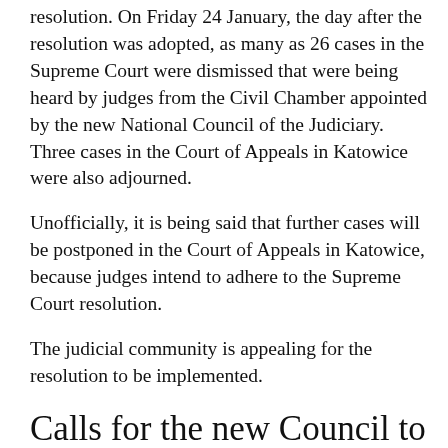resolution. On Friday 24 January, the day after the resolution was adopted, as many as 26 cases in the Supreme Court were dismissed that were being heard by judges from the Civil Chamber appointed by the new National Council of the Judiciary. Three cases in the Court of Appeals in Katowice were also adjourned.
Unofficially, it is being said that further cases will be postponed in the Court of Appeals in Katowice, because judges intend to adhere to the Supreme Court resolution.
The judicial community is appealing for the resolution to be implemented.
Calls for the new Council to stand down
In addition, Colleges of judges from courts in Słupsk and